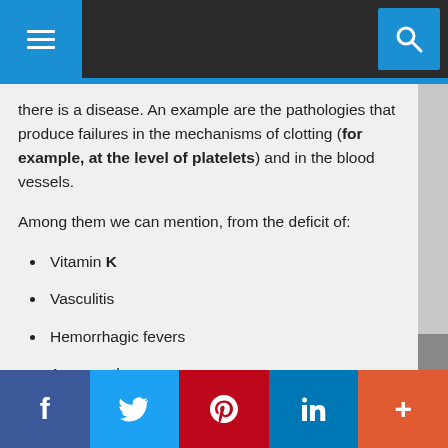there is a disease. An example are the pathologies that produce failures in the mechanisms of clotting (for example, at the level of platelets) and in the blood vessels.
Among them we can mention, from the deficit of:
Vitamin K
Vasculitis
Hemorrhagic fevers
Among others.
It is also advisable to review the medicines